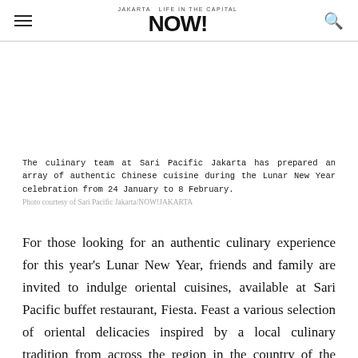Jakarta NOW! (logo with hamburger menu and search icon)
The culinary team at Sari Pacific Jakarta has prepared an array of authentic Chinese cuisine during the Lunar New Year celebration from 24 January to 8 February.
Photo courtesy of Sari Pacific Jakarta/NOW!JAKARTA
For those looking for an authentic culinary experience for this year's Lunar New Year, friends and family are invited to indulge oriental cuisines, available at Sari Pacific buffet restaurant, Fiesta. Feast a various selection of oriental delicacies inspired by a local culinary tradition from across the region in the country of the Sleeping Giant.